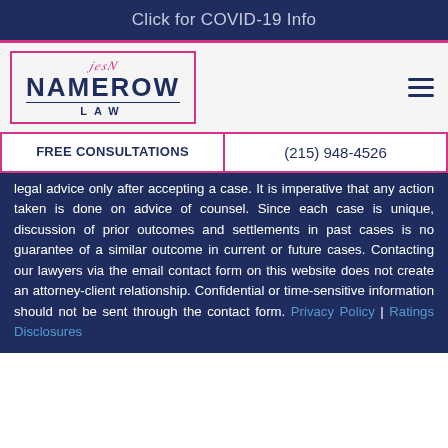Click for COVID-19 Info
[Figure (logo): Namerow Law firm logo with signature and pink border]
FREE CONSULTATIONS   (215) 948-4526
legal advice only after accepting a case. It is imperative that any action taken is done on advice of counsel. Since each case is unique, discussion of prior outcomes and settlements in past cases is no guarantee of a similar outcome in current or future cases. Contacting our lawyers via the email contact form on this website does not create an attorney-client relationship. Confidential or time-sensitive information should not be sent through the contact form. Privacy Policy | Ratings Disclosures